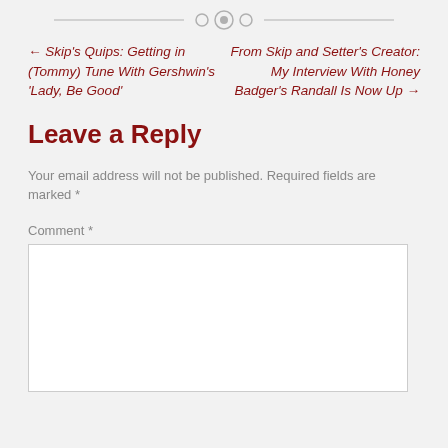[Figure (other): Decorative horizontal divider with circles in the center]
← Skip's Quips: Getting in (Tommy) Tune With Gershwin's 'Lady, Be Good'
From Skip and Setter's Creator: My Interview With Honey Badger's Randall Is Now Up →
Leave a Reply
Your email address will not be published. Required fields are marked *
Comment *